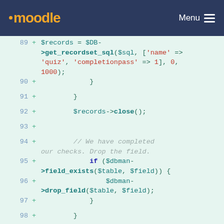moodle  Menu
[Figure (screenshot): Code diff view showing PHP code lines 89-101 with green added lines on a light mint background. Lines show database record operations including get_recordset_sql, close, field_exists, drop_field, and upgrade_mod_savepoint calls.]